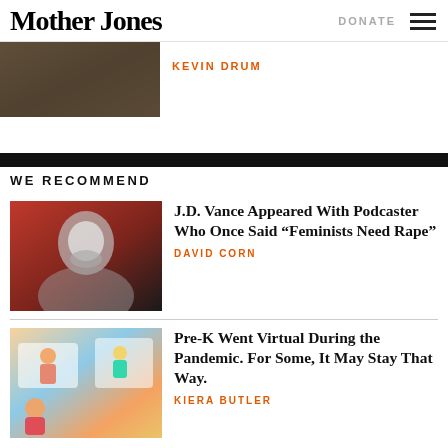Mother Jones | DONATE
[Figure (photo): Partial article thumbnail - dark textured background image]
KEVIN DRUM
WE RECOMMEND
[Figure (photo): Black and white photo of J.D. Vance against a red background]
J.D. Vance Appeared With Podcaster Who Once Said “Feminists Need Rape”
DAVID CORN
[Figure (illustration): Colorful illustration of children in virtual classroom setting during pandemic]
Pre-K Went Virtual During the Pandemic. For Some, It May Stay That Way.
KIERA BUTLER